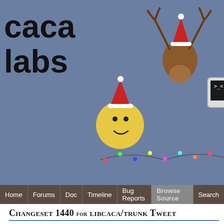[Figure (illustration): Caca Labs website banner with cartoon characters including a smiley face, moose, terminal computers, poop emoji, and bomb wearing Santa hats, on a blue-gray background with 'caca labs' text]
Home | Forums | Doc | Timeline | Bug Reports | Browse Source | Search
Changeset 1440 for libcaca/trunk Tweet
Timestamp: Nov 27, 2006, 3:58:59 PM (16 years ago)
Author: Sam Hocevar
Message: Got rid of that ugly cv->import member.
Location: libcaca/trunk/cucul
Files: 4 edited
cucul.c (2 diffs)
cucul_internals.h (1
View differences inline
Show 2 lines around each change
Show the changes in
Ignore:
Blank lines
Case changes
White space cha